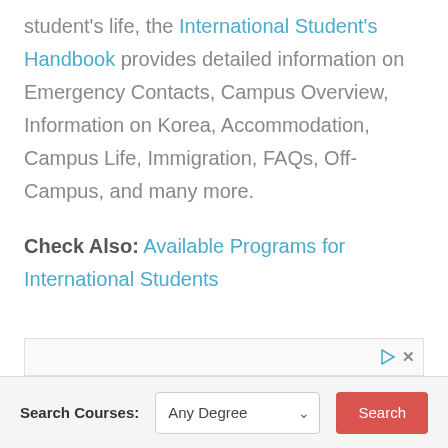student's life, the International Student's Handbook provides detailed information on Emergency Contacts, Campus Overview, Information on Korea, Accommodation, Campus Life, Immigration, FAQs, Off-Campus, and many more.
Check Also: Available Programs for International Students
[Figure (other): Advertisement bar with play and close icons]
Search Courses: [Any Degree dropdown] [Search button]